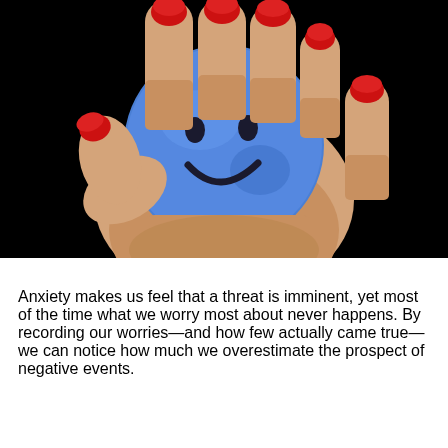[Figure (photo): A hand with red-painted fingernails squeezing a blue stress ball with a smiley face on it, against a black background.]
Anxiety makes us feel that a threat is imminent, yet most of the time what we worry most about never happens. By recording our worries—and how few actually came true—we can notice how much we overestimate the prospect of negative events.